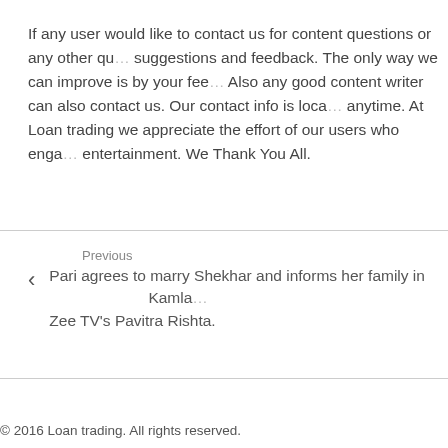If any user would like to contact us for content questions or any other qu... suggestions and feedback. The only way we can improve is by your fee... Also any good content writer can also contact us. Our contact info is loca... anytime. At Loan trading we appreciate the effort of our users who enga... entertainment. We Thank You All.
Previous
Pari agrees to marry Shekhar and informs her family in Zee TV's Pavitra Rishta.
© 2016 Loan trading. All rights reserved.